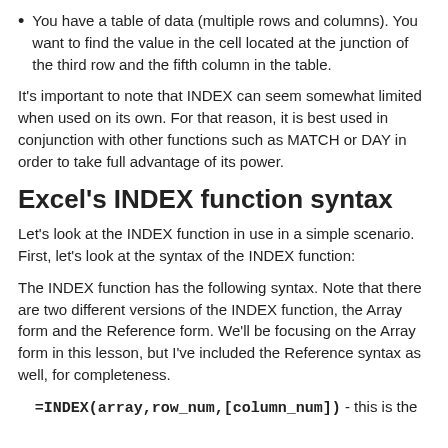You have a table of data (multiple rows and columns). You want to find the value in the cell located at the junction of the third row and the fifth column in the table.
It's important to note that INDEX can seem somewhat limited when used on its own. For that reason, it is best used in conjunction with other functions such as MATCH or DAY in order to take full advantage of its power.
Excel's INDEX function syntax
Let's look at the INDEX function in use in a simple scenario. First, let's look at the syntax of the INDEX function:
The INDEX function has the following syntax. Note that there are two different versions of the INDEX function, the Array form and the Reference form. We'll be focusing on the Array form in this lesson, but I've included the Reference syntax as well, for completeness.
=INDEX(array,row_num,[column_num]) - this is the